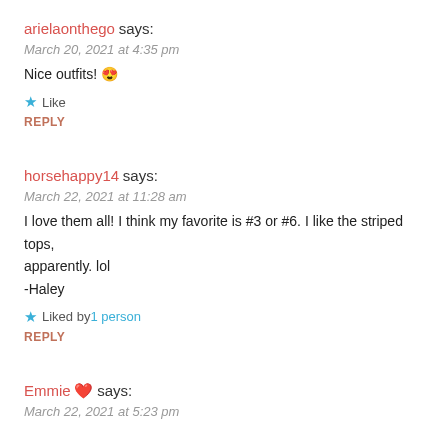arielaonthego says:
March 20, 2021 at 4:35 pm
Nice outfits! 😍
★ Like
REPLY
horsehappy14 says:
March 22, 2021 at 11:28 am
I love them all! I think my favorite is #3 or #6. I like the striped tops, apparently. lol
-Haley
★ Liked by 1 person
REPLY
Emmie ❤️ says:
March 22, 2021 at 5:23 pm